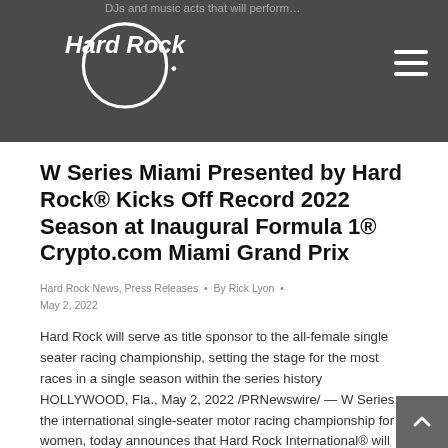Hard Rock
W Series Miami Presented by Hard Rock® Kicks Off Record 2022 Season at Inaugural Formula 1® Crypto.com Miami Grand Prix
Hard Rock News, Press Releases • By Rick Lyon • May 2, 2022
Hard Rock will serve as title sponsor to the all-female single seater racing championship, setting the stage for the most races in a single season within the series history HOLLYWOOD, Fla., May 2, 2022 /PRNewswire/ — W Series, the international single-seater motor racing championship for women, today announces that Hard Rock International® will be the title sponsor of the…